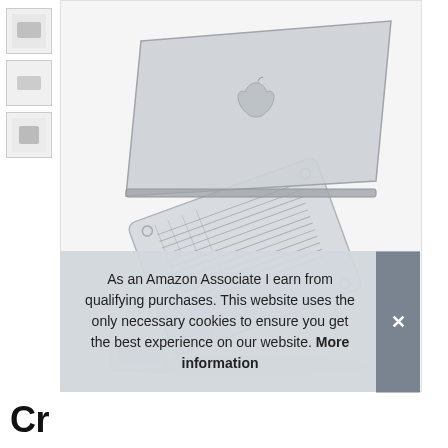[Figure (photo): A clear/transparent MacBook hard shell case shown on a MacBook laptop viewed from the back/bottom, propped open at an angle. The case has ventilation cutouts and screw hole covers. Product is shown on a white background.]
As an Amazon Associate I earn from qualifying purchases. This website uses the only necessary cookies to ensure you get the best experience on our website. More information
Cr